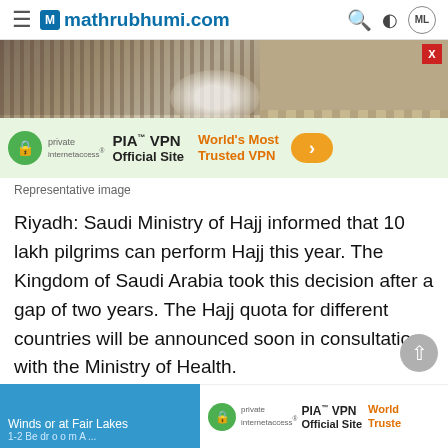mathrubhumi.com
[Figure (photo): Advertisement banner showing crowd of pilgrims at Hajj site with PIA VPN advertisement overlay on the lower portion]
Representative image
Riyadh: Saudi Ministry of Hajj informed that 10 lakh pilgrims can perform Hajj this year. The Kingdom of Saudi Arabia took this decision after a gap of two years. The Hajj quota for different countries will be announced soon in consultation with the Ministry of Health.
[Figure (screenshot): Bottom advertisement strip showing Windsor at Fair Lakes text and PIA VPN Official Site advertisement]